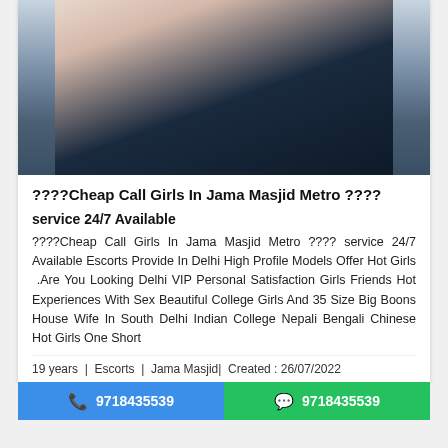[Figure (photo): Partial photo of a person wearing a dark navy blue outfit, hands clasped, cropped to show torso only]
????Cheap Call Girls In Jama Masjid Metro ????
service 24/7 Available
????Cheap Call Girls In Jama Masjid Metro ???? service 24/7 Available Escorts Provide In Delhi High Profile Models Offer Hot Girls .Are You Looking Delhi VIP Personal Satisfaction Girls Friends Hot Experiences With Sex Beautiful College Girls And 35 Size Big Boons House Wife In South Delhi Indian College Nepali Bengali Chinese Hot Girls One Short
19 years | Escorts | Jama Masjid| Created : 26/07/2022
9718435539 | 9718435539